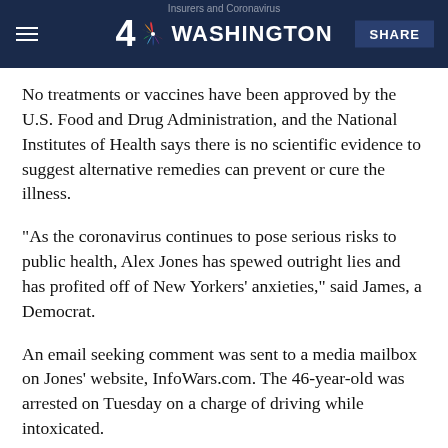Insurers and Coronavirus | 4 Washington | SHARE
No treatments or vaccines have been approved by the U.S. Food and Drug Administration, and the National Institutes of Health says there is no scientific evidence to suggest alternative remedies can prevent or cure the illness.
"As the coronavirus continues to pose serious risks to public health, Alex Jones has spewed outright lies and has profited off of New Yorkers' anxieties," said James, a Democrat.
An email seeking comment was sent to a media mailbox on Jones' website, InfoWars.com. The 46-year-old was arrested on Tuesday on a charge of driving while intoxicated.
The cease-and-desist letter to Jones was the fourth that James' office has issued this week regarding fake...